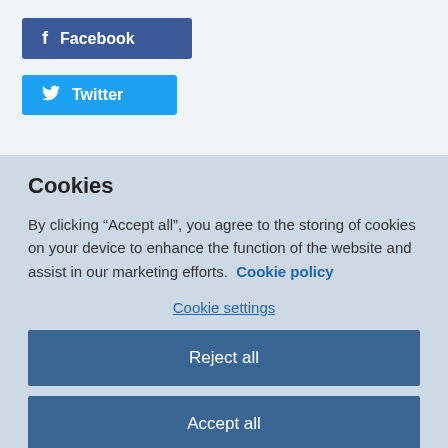[Figure (other): Facebook social share button with 'f' icon and label 'Facebook' on dark blue background]
[Figure (other): Twitter social share button with bird icon and label 'Twitter' on light blue background]
Cookies
By clicking “Accept all”, you agree to the storing of cookies on your device to enhance the function of the website and assist in our marketing efforts.  Cookie policy
Cookie settings
Reject all
Accept all